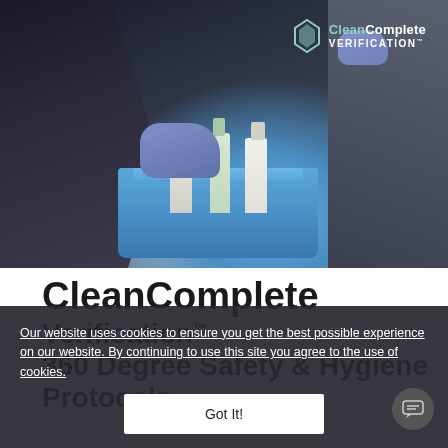[Figure (photo): Person in dark uniform wearing blue gloves, carrying a blue tray of cleaning supplies including spray bottles. CleanComplete Verification logo in top right corner.]
CleanComplete
Verification™
360 Degree Safety & Hygiene Protocols
Our website uses cookies to ensure you get the best possible experience on our website. By continuing to use this site you agree to the use of cookies.
Got It!